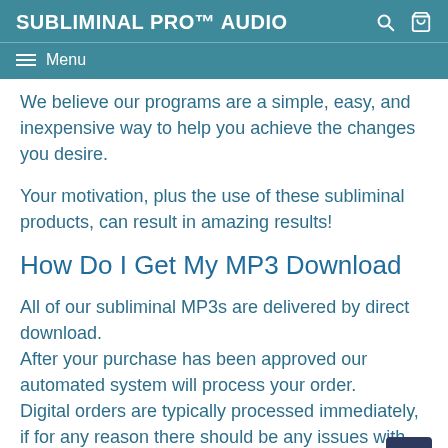SUBLIMINAL PRO™ AUDIO  ☰ Menu
We believe our programs are a simple, easy, and inexpensive way to help you achieve the changes you desire.
Your motivation, plus the use of these subliminal products, can result in amazing results!
How Do I Get My MP3 Download
All of our subliminal MP3s are delivered by direct download. After your purchase has been approved our automated system will process your order. Digital orders are typically processed immediately, if for any reason there should be any issues with the download servers please don't hesitate to contact us